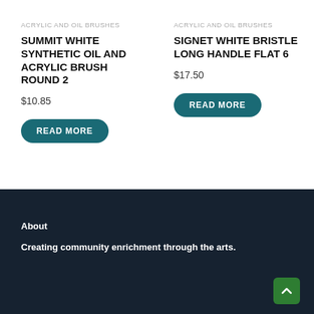ACRYLIC AND OIL BRUSHES
SUMMIT WHITE SYNTHETIC OIL AND ACRYLIC BRUSH ROUND 2
$10.85
READ MORE
ACRYLIC AND OIL BRUSHES
SIGNET WHITE BRISTLE LONG HANDLE FLAT 6
$17.50
READ MORE
About
Creating community enrichment through the arts.